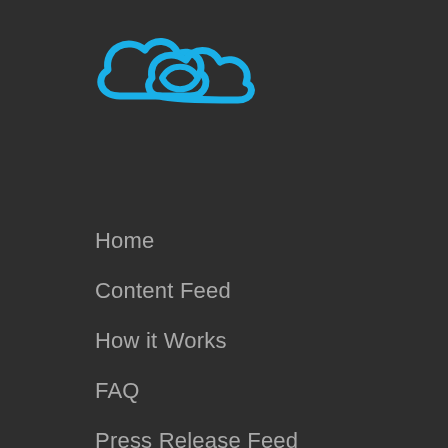[Figure (logo): Cloud-shaped infinity loop logo in blue outline style]
Home
Content Feed
How it Works
FAQ
Press Release Feed
Contact Us